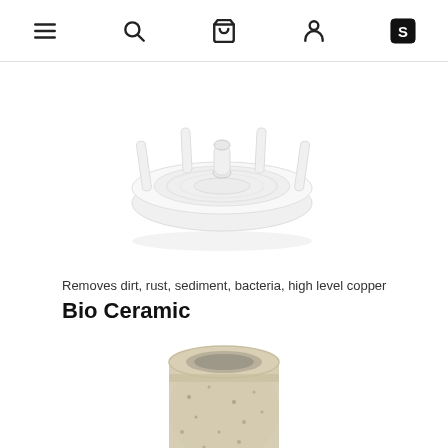Navigation bar with menu, search, cart, account, and brand icons
[Figure (photo): A white circular plastic water filter cap/insert with a central stem and four protruding prongs, viewed from above at a slight angle, on a white background.]
Removes dirt, rust, sediment, bacteria, high level copper
Bio Ceramic
[Figure (photo): A cylindrical bio ceramic water filter candle with a beige/cream speckled stone-like texture, hollow at the top, partially visible, on a white background.]